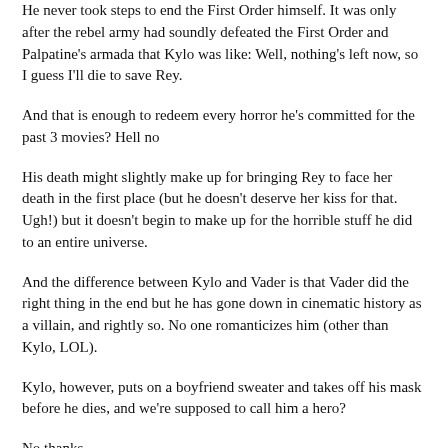He never took steps to end the First Order himself. It was only after the rebel army had soundly defeated the First Order and Palpatine's armada that Kylo was like: Well, nothing's left now, so I guess I'll die to save Rey.
And that is enough to redeem every horror he's committed for the past 3 movies? Hell no
His death might slightly make up for bringing Rey to face her death in the first place (but he doesn't deserve her kiss for that. Ugh!) but it doesn't begin to make up for the horrible stuff he did to an entire universe.
And the difference between Kylo and Vader is that Vader did the right thing in the end but he has gone down in cinematic history as a villain, and rightly so. No one romanticizes him (other than Kylo, LOL).
Kylo, however, puts on a boyfriend sweater and takes off his mask before he dies, and we're supposed to call him a hero?
No thanks.